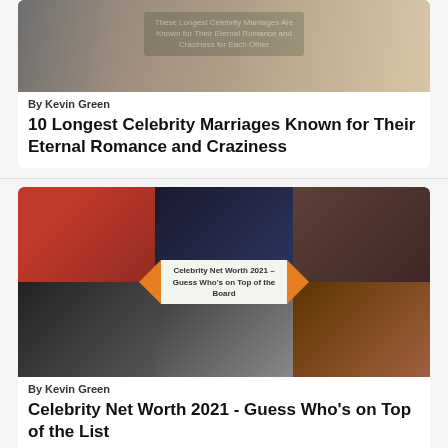[Figure (photo): Collage of celebrity couples with overlay text about longest celebrity marriages]
By Kevin Green
10 Longest Celebrity Marriages Known for Their Eternal Romance and Craziness
[Figure (photo): Collage of celebrities including Cristiano Ronaldo, Kylie Jenner, Dwayne Johnson, Kanye West, Jonas Brothers, Oprah Winfrey with overlay text Celebrity Net Worth 2021 - Guess Who's on Top of the Board]
By Kevin Green
Celebrity Net Worth 2021 - Guess Who's on Top of the List